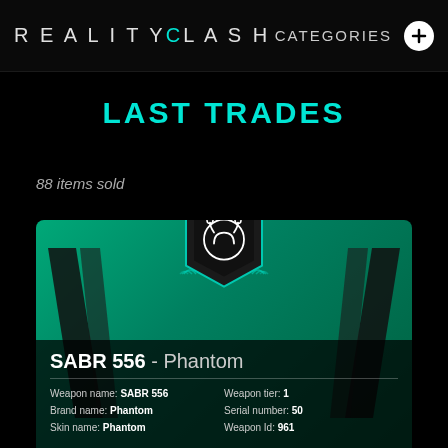REALITY CLASH   CATEGORIES +
LAST TRADES
88 items sold
[Figure (illustration): Reality Clash game card showing SABR 556 Phantom weapon with teal gradient background, decorative V-shapes, hexagonal badge with logo, and weapon details: Weapon name: SABR 556, Brand name: Phantom, Skin name: Phantom, Weapon tier: 1, Serial number: 50, Weapon Id: 961]